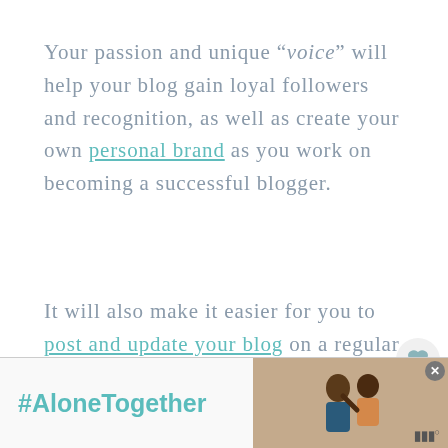Your passion and unique "voice" will help your blog gain loyal followers and recognition, as well as create your own personal brand as you work on becoming a successful blogger.
It will also make it easier for you to post and update your blog on a regular basis because you will be excited about the topics you can share.
[Figure (screenshot): Floating UI icons: heart and share buttons, plus a What's Next widget showing Tips to Make Your Blog...]
Once you have determined...
[Figure (infographic): Advertisement banner with #AloneTogether text and a photo of two people, with a close button and Mio logo]